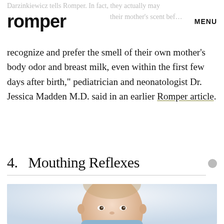romper  MENU
recognize and prefer the smell of their own mother's body odor and breast milk, even within the first few days after birth," pediatrician and neonatologist Dr. Jessica Madden M.D. said in an earlier Romper article.
4.   Mouthing Reflexes
[Figure (photo): Close-up photo of a baby with a light background, wearing a blue garment, looking slightly to the side.]